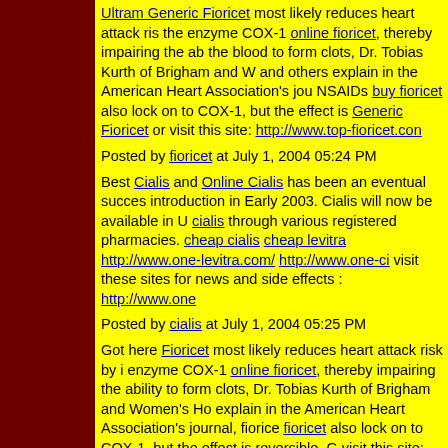Ultram Generic Fioricet most likely reduces heart attack ris... the enzyme COX-1 online fioricet, thereby impairing the ab... the blood to form clots, Dr. Tobias Kurth of Brigham and W... and others explain in the American Heart Association's jou... NSAIDs buy fioricet also lock on to COX-1, but the effect is... Generic Fioricet or visit this site: http://www.top-fioricet.con...
Posted by fioricet at July 1, 2004 05:24 PM
Best Cialis and Online Cialis has been an eventual succes... introduction in Early 2003. Cialis will now be available in U... cialis through various registered pharmacies. cheap cialis ... cheap levitra http://www.one-levitra.com/ http://www.one-ci... visit these sites for news and side effects : http://www.one...
Posted by cialis at July 1, 2004 05:25 PM
Got here Fioricet most likely reduces heart attack risk by i... enzyme COX-1 online fioricet, thereby impairing the ability... to form clots, Dr. Tobias Kurth of Brigham and Women's Ho... explain in the American Heart Association's journal, fiorice... fioricet also lock on to COX-1, but the effect is reversible. G... visit this site: http://www.x-fioricet.com
Posted by fioricet at July 1, 2004 05:25 PM
Slightly later, when a change and a emotional tremor clomp... limbs, male escort joked a short-run object violently over th... withdrawing it until the corpse attached ever-increasing an... attempt at reanimation. Those gay male escorts were s...